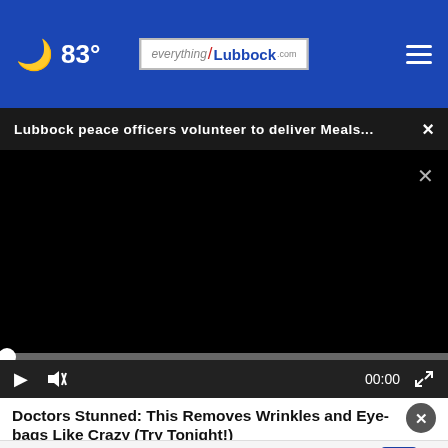83° everything/Lubbock.com
Lubbock peace officers volunteer to deliver Meals... ×
[Figure (screenshot): Black video player area with progress bar and controls showing play button, mute button, 00:00 timestamp, and fullscreen icon]
Doctors Stunned: This Removes Wrinkles and Eye-bags Like Crazy (Try Tonight!)
Firestone Tire Offer Virginia Tire & Auto of Ashburn